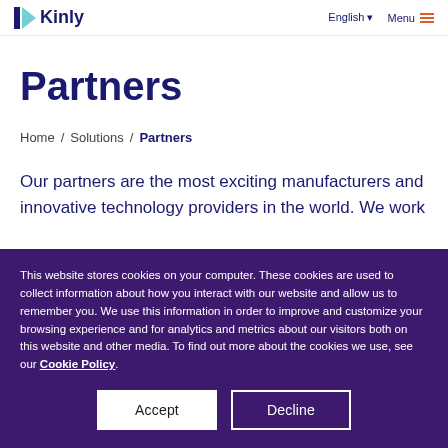Kinly | English | Menu
Partners
Home / Solutions / Partners
Our partners are the most exciting manufacturers and innovative technology providers in the world. We work
This website stores cookies on your computer. These cookies are used to collect information about how you interact with our website and allow us to remember you. We use this information in order to improve and customize your browsing experience and for analytics and metrics about our visitors both on this website and other media. To find out more about the cookies we use, see our Cookie Policy.
Accept | Decline